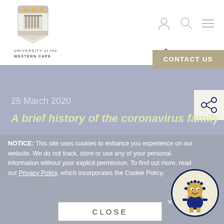[Figure (logo): University of the Western Cape shield logo with crest]
UNIVERSITY of the
WESTERN CAPE
[Figure (other): Navigation icons: user profile, search, and hamburger menu]
CONTACT US
25 March 2020
[Figure (other): Share icon button]
A brief history of the coronavirus family
NOTICE: This site uses cookies to enhance you experience on our website. We do not track, store or use any of your personal information without your explicit permission. To find out more, read our Privacy Policy, which incorporates the Cookie Policy.
[Figure (illustration): Coronavirus mascot character - cartoon virus with blue jacket and spikes]
CLOSE